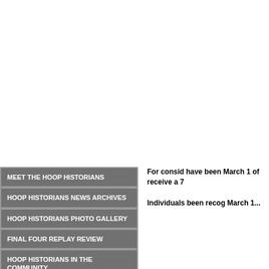MEET THE HOOP HISTORIANS
HOOP HISTORIANS NEWS ARCHIVES
HOOP HISTORIANS PHOTO GALLERY
FINAL FOUR REPLAY REVIEW
HOOP HISTORIANS IN THE COMMUNITY
HOOP HISTORIANS IN THE MEDIA
For consid have been March 1 of receive a 7
Individuals been recog March 1...